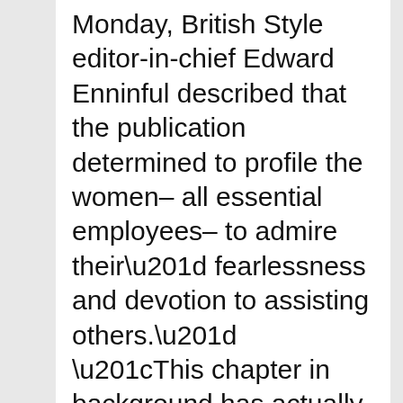Monday, British Style editor-in-chief Edward Enninful described that the publication determined to profile the women– all essential employees– to admire their” fearlessness and devotion to assisting others.” “This chapter in background has actually seen a culture change its focus onto a few of the people in this country who are not typically afforded the